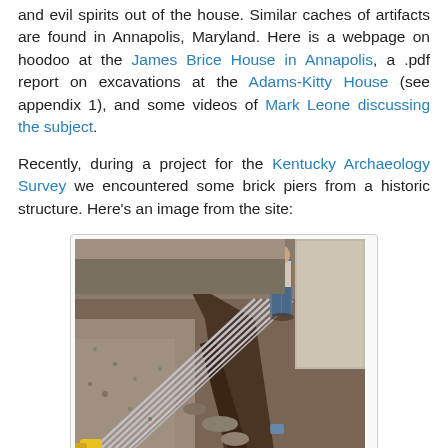and evil spirits out of the house. Similar caches of artifacts are found in Annapolis, Maryland. Here is a webpage on hoodoo at the James Brice House in Annapolis, a .pdf report on excavations at the Adams-Kitty House (see appendix 1), and some videos of Mark Leone discussing the subject.
Recently, during a project for the Kentucky Archaeology Survey we encountered some brick piers from a historic structure. Here's an image from the site:
[Figure (photo): Photograph of an archaeological excavation site showing a narrow trench with stone/brick piers, utility pipes or conduits running diagonally along the left side, gravel and disturbed soil on the ground, and a person standing in the background.]